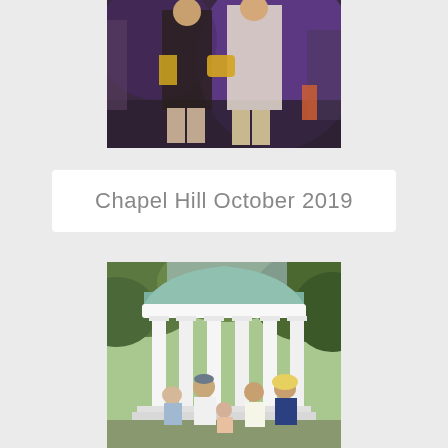[Figure (photo): Two people standing together at an evening event, one wearing dark shorts and the other a light-colored top, with purple/blue lighting in the background]
Chapel Hill October 2019
[Figure (photo): Family group posing under the Old Well rotunda at UNC Chapel Hill, a white circular columned structure with a green dome, surrounded by trees]